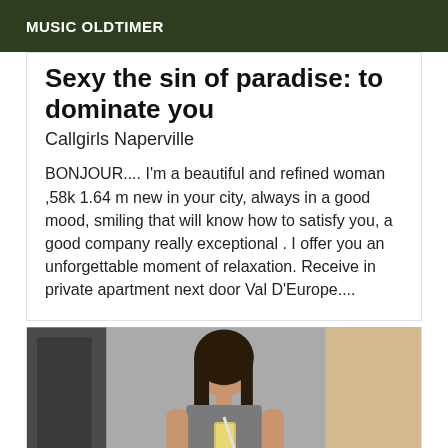MUSIC OLDTIMER
Sexy the sin of paradise: to dominate you
Callgirls Naperville
BONJOUR.... I'm a beautiful and refined woman ,58k 1.64 m new in your city, always in a good mood, smiling that will know how to satisfy you, a good company really exceptional . I offer you an unforgettable moment of relaxation. Receive in private apartment next door Val D'Europe....
[Figure (photo): A woman taking a mirror selfie with a phone, wearing a grey t-shirt, with dark hair, in what appears to be a room with mirrors and a door.]